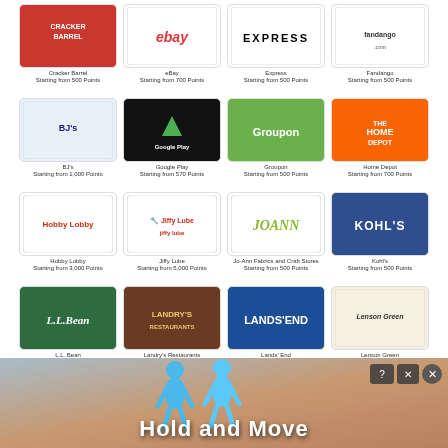[Figure (screenshot): Grid of gift card logos including Cracker Barrel, eBay, Express, Fandango, BJ's, Google Play, Groupon, Home Depot, Hobby Lobby, Jiffy Lube, JOANN, Kohl's, L.L.Bean, Landry's Restaurants, Lands End, Lenson Green, Longhorn Steakhouse, Lowe's, Macy's, Maggiano's, McCormick & Schmick's, Menards, Nike, Old Navy, Olive Garden, Panera Bread, On The Border, Outback, Overstock.com, Panera Bread, Papa John's, PayPal — each with a small logo card and label text showing name and starting points]
[Figure (screenshot): Advertising banner at the bottom showing two blue cartoon figures and text 'Hold and Move' with close/help/x buttons in top right corner]